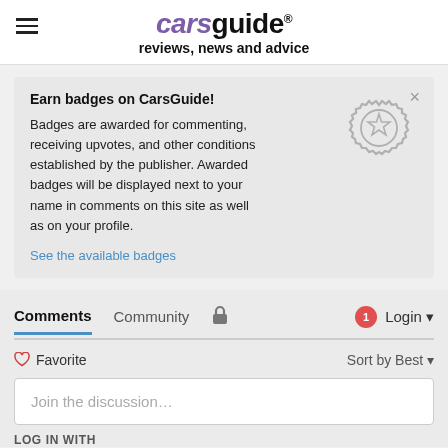carsguide reviews, news and advice
Earn badges on CarsGuide!
Badges are awarded for commenting, receiving upvotes, and other conditions established by the publisher. Awarded badges will be displayed next to your name in comments on this site as well as on your profile.
See the available badges
Comments  Community  🔒  1  Login
♡ Favorite  Sort by Best
Join the discussion...
LOG IN WITH